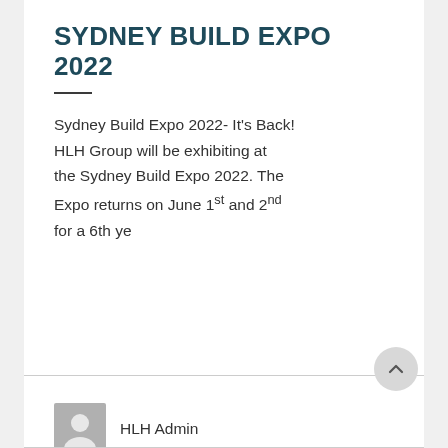SYDNEY BUILD EXPO 2022
Sydney Build Expo 2022- It's Back! HLH Group will be exhibiting at the Sydney Build Expo 2022. The Expo returns on June 1st and 2nd for a 6th ye
HLH Admin
20 May, 2022